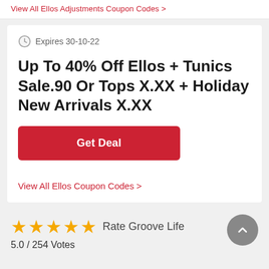View All Ellos Adjustments Coupon Codes >
Expires 30-10-22
Up To 40% Off Ellos + Tunics Sale.90 Or Tops X.XX + Holiday New Arrivals X.XX
Get Deal
View All Ellos Coupon Codes >
Rate Groove Life
5.0 / 254 Votes